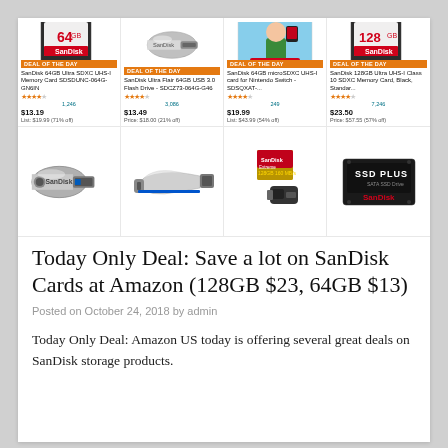[Figure (screenshot): Amazon product grid showing 8 SanDisk storage products (SD cards, USB drives, SSD) with Deal of the Day badges, prices, star ratings, and product names]
Today Only Deal: Save a lot on SanDisk Cards at Amazon (128GB $23, 64GB $13)
Posted on October 24, 2018 by admin
Today Only Deal: Amazon US today is offering several great deals on SanDisk storage products.